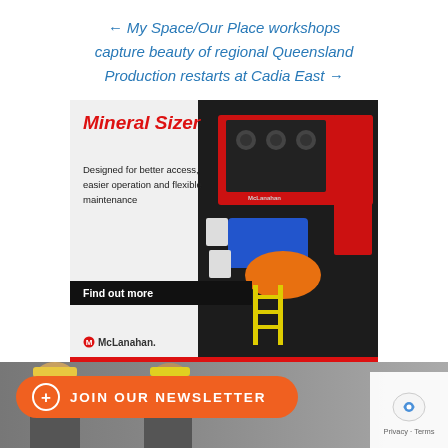← My Space/Our Place workshops capture beauty of regional Queensland
Production restarts at Cadia East →
[Figure (photo): McLanahan Mineral Sizer advertisement showing a large red industrial mineral sizer machine with blue motor and orange drive components. Text reads: Mineral Sizer — Designed for better access, easier operation and flexible maintenance — Find out more — McLanahan logo]
+ JOIN OUR NEWSLETTER
[Figure (photo): Bottom portion of page showing two mining workers wearing hard hats and safety glasses, with a reCAPTCHA Privacy - Terms badge in the lower right corner]